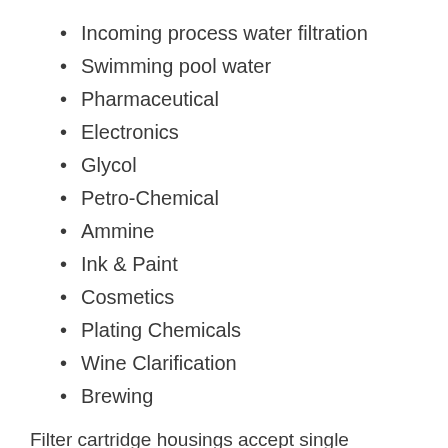Incoming process water filtration
Swimming pool water
Pharmaceutical
Electronics
Glycol
Petro-Chemical
Ammine
Ink & Paint
Cosmetics
Plating Chemicals
Wine Clarification
Brewing
Filter cartridge housings accept single cartridges of to hundreds of cartridges. The housing is sized based on the flow